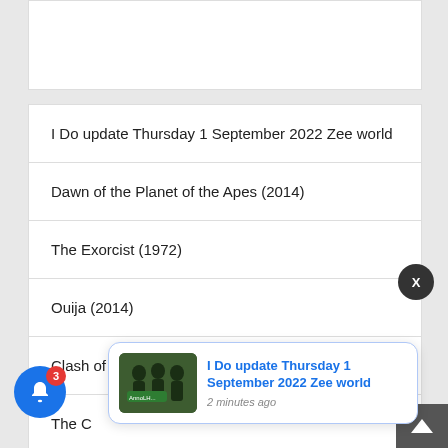I Do update Thursday 1 September 2022 Zee world
Dawn of the Planet of the Apes (2014)
The Exorcist (1972)
Ouija (2014)
Clash of the Titans (2010)
The C[ontinued]
I Love You, Daddy (2017)